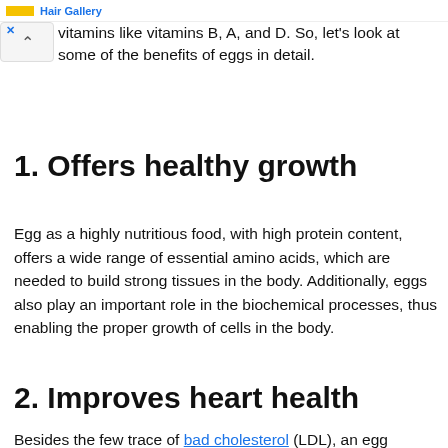Hair Gallery [ad]
vitamins like vitamins B, A, and D. So, let's look at some of the benefits of eggs in detail.
1. Offers healthy growth
Egg as a highly nutritious food, with high protein content, offers a wide range of essential amino acids, which are needed to build strong tissues in the body. Additionally, eggs also play an important role in the biochemical processes, thus enabling the proper growth of cells in the body.
2. Improves heart health
Besides the few trace of bad cholesterol (LDL), an egg